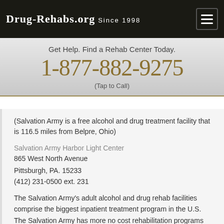Drug-Rehabs.org Since 1998
Get Help. Find a Rehab Center Today.
1-877-882-9275
(Tap to Call)
(Salvation Army is a free alcohol and drug treatment facility that is 116.5 miles from Belpre, Ohio)
Salvation Army Harbor Light Center
865 West North Avenue
Pittsburgh, PA. 15233
(412) 231-0500 ext. 231
The Salvation Army's adult alcohol and drug rehab facilities comprise the biggest inpatient treatment program in the U.S. The Salvation Army has more no cost rehabilitation programs than any other program in America.